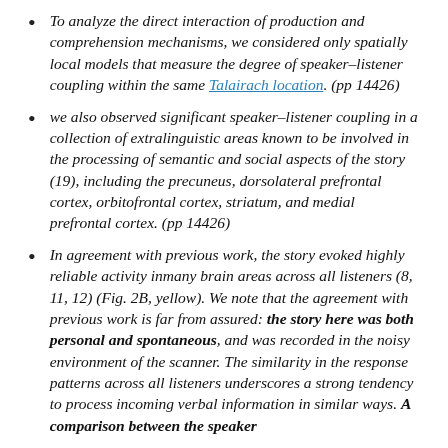To analyze the direct interaction of production and comprehension mechanisms, we considered only spatially local models that measure the degree of speaker–listener coupling within the same Talairach location. (pp 14426)
we also observed significant speaker–listener coupling in a collection of extralinguistic areas known to be involved in the processing of semantic and social aspects of the story (19), including the precuneus, dorsolateral prefrontal cortex, orbitofrontal cortex, striatum, and medial prefrontal cortex. (pp 14426)
In agreement with previous work, the story evoked highly reliable activity inmany brain areas across all listeners (8, 11, 12) (Fig. 2B, yellow). We note that the agreement with previous work is far from assured: the story here was both personal and spontaneous, and was recorded in the noisy environment of the scanner. The similarity in the response patterns across all listeners underscores a strong tendency to process incoming verbal information in similar ways. A comparison between the speaker…